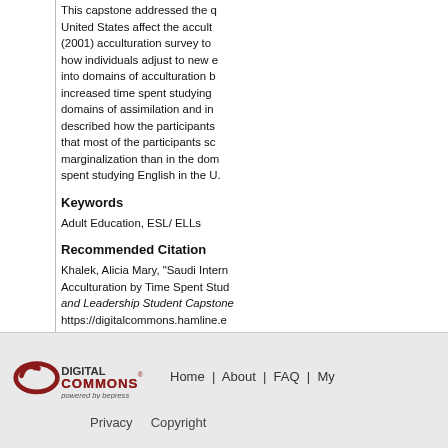This capstone addressed the question how does time spent in the United States affect the acculturation of Saudi International Students. A (2001) acculturation survey to measure acculturation levels and gain insight into how individuals adjust to new environments. The findings provided insight into domains of acculturation behavior. Key findings were that participants with increased time spent studying English in the U.S. scored higher in the domains of assimilation and integration. Additionally, qualitative data described how the participants acculturated to the U.S. Results indicated that most of the participants scored higher in the domains of assimilation and marginalization than in the domain of integration, and that the more years spent studying English in the U.S., the more participants acculturated.
Keywords
Adult Education, ESL/ ELLs
Recommended Citation
Khalek, Alicia Mary, "Saudi International Students: Examining Acculturation by Time Spent Studying English in the U.S." and Leadership Student Capstone Projects and Theses. https://digitalcommons.hamline.edu
[Figure (logo): Digital Commons powered by bepress logo]
Home | About | FAQ | My Account | Accessibility Statement
Privacy    Copyright